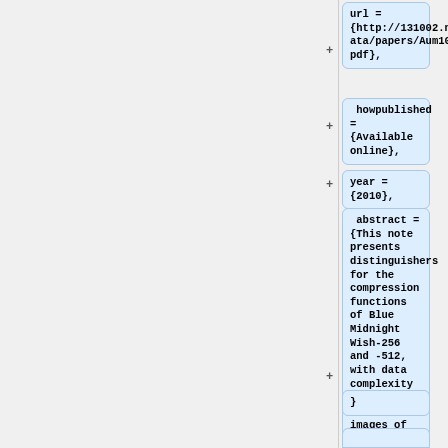url = {http://131002.net/data/papers/Aum10.pdf},
howpublished = {Available online},
year = {2010},
abstract ={This note presents distinguishers for the compression functions of Blue Midnight Wish-256 and -512, with data complexity of 2^19 pairs of images of uniformly random unknown inputs with a given difference.},
}